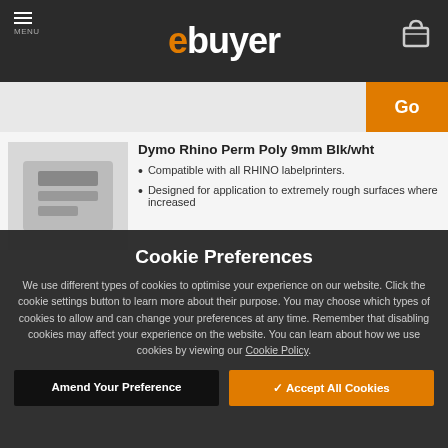ebuyer - MENU
[Figure (screenshot): ebuyer website header with logo, menu icon, and cart icon on dark background]
[Figure (screenshot): Search bar with orange Go button]
Dymo Rhino Perm Poly 9mm Blk/wht
Compatible with all RHINO labelprinters.
Designed for application to extremely rough surfaces where increased
Cookie Preferences
We use different types of cookies to optimise your experience on our website. Click the cookie settings button to learn more about their purpose. You may choose which types of cookies to allow and can change your preferences at any time. Remember that disabling cookies may affect your experience on the website. You can learn about how we use cookies by viewing our Cookie Policy.
Amend Your Preference
✓ Accept All Cookies